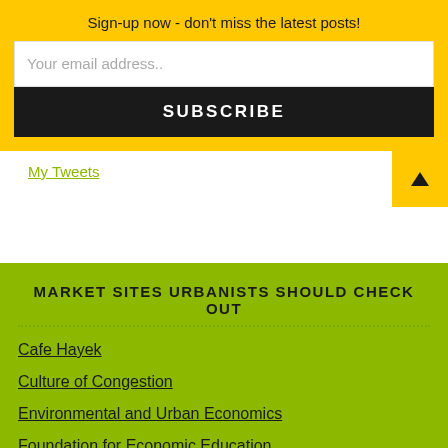Sign-up now - don't miss the latest posts!
Your email address..
SUBSCRIBE
My Tweets
MARKET SITES URBANISTS SHOULD CHECK OUT
Cafe Hayek
Culture of Congestion
Environmental and Urban Economics
Foundation for Economic Education
Let A Thousand Nations Bloom
Marginal Revolution